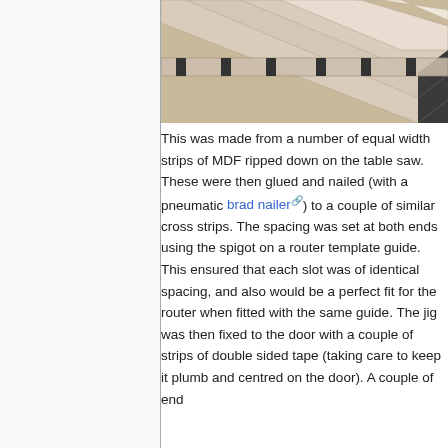[Figure (photo): Close-up photo of MDF strips arranged diagonally with slots cut between them, showing a router jig construction with evenly spaced strips and cross supports.]
This was made from a number of equal width strips of MDF ripped down on the table saw. These were then glued and nailed (with a pneumatic brad nailer) to a couple of similar cross strips. The spacing was set at both ends using the spigot on a router template guide. This ensured that each slot was of identical spacing, and also would be a perfect fit for the router when fitted with the same guide. The jig was then fixed to the door with a couple of strips of double sided tape (taking care to keep it plumb and centred on the door). A couple of end